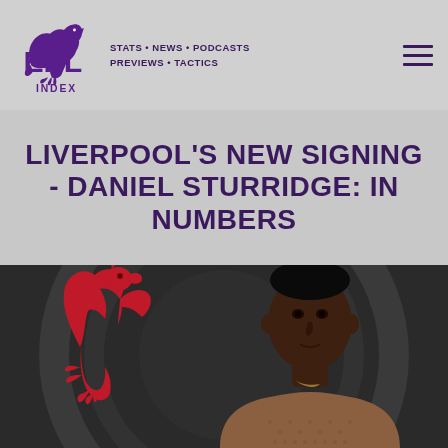EPL INDEX — STATS • NEWS • PODCASTS • PREVIEWS • TACTICS
LIVERPOOL'S NEW SIGNING - DANIEL STURRIDGE: IN NUMBERS
[Figure (photo): Daniel Sturridge portrait with Liverpool FC Liver Bird crest (red) on dark grey background]